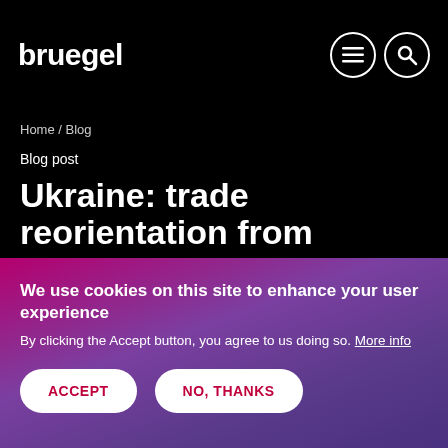bruegel
Home / Blog
Blog post
Ukraine: trade reorientation from Russia to the EU
Over the past five years conflict has led to a
We use cookies on this site to enhance your user experience
By clicking the Accept button, you agree to us doing so. More info
ACCEPT
NO, THANKS